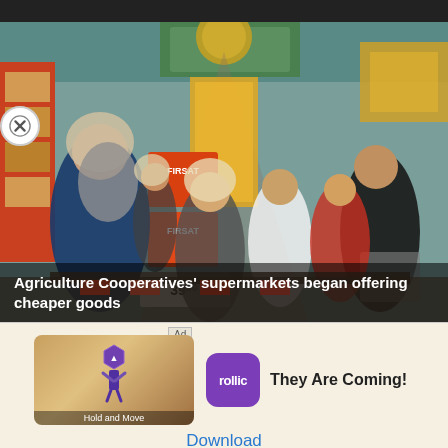[Figure (photo): A crowded supermarket interior with shoppers browsing products. Orange 'FIRSAT' promotional signs and price tags (39) are visible on a central display. Shoppers, many in headscarves, fill the aisles.]
Agriculture Cooperatives' supermarkets began offering cheaper goods
[Figure (screenshot): Mobile advertisement for a game called 'Hold and Move' by Rollic. Shows a game preview image on the left and the Rollic purple icon on the right with text 'They Are Coming!' and a Download button.]